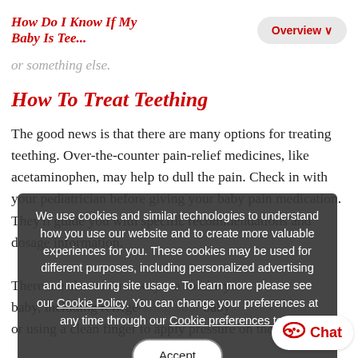How Do I Know If My Baby Is Tee...
or something else.
How To Treat Teething
The good news is that there are many options for treating teething. Over-the-counter pain-relief medicines, like acetaminophen, may help to dull the pain. Check in with your pediatrician before giving your baby pain medication. They'll guide you with specific recommendations and dosage information.
There are also several ways to soothe your baby, including refrigerating your baby or using a clean finger to apply pressure on the gums.
We use cookies and similar technologies to understand how you use our website and to create more valuable experiences for you. These cookies may be used for different purposes, including personalized advertising and measuring site usage. To learn more please see our Cookie Policy. You can change your preferences at any time through our Cookie preferences tool.